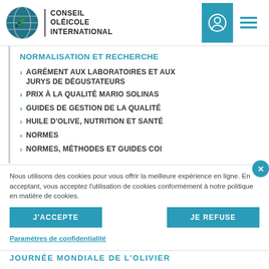[Figure (logo): Conseil Oléicole International logo with globe and olive branch icon]
NORMALISATION ET RECHERCHE
AGRÉMENT AUX LABORATOIRES ET AUX JURYS DE DÉGUSTATEURS
PRIX À LA QUALITÉ MARIO SOLINAS
GUIDES DE GESTION DE LA QUALITÉ
HUILE D'OLIVE, NUTRITION ET SANTÉ
NORMES
NORMES, MÉTHODES ET GUIDES COI
Nous utilisons des cookies pour vous offrir la meilleure expérience en ligne. En acceptant, vous acceptez l'utilisation de cookies conformément à notre politique en matière de cookies.
J'ACCEPTE
JE REFUSE
Paramètres de confidentialité
JOURNÉE MONDIALE DE L'OLIVIER